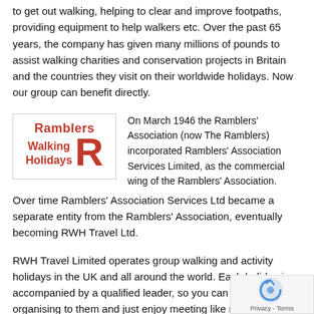to get out walking, helping to clear and improve footpaths, providing equipment to help walkers etc. Over the past 65 years, the company has given many millions of pounds to assist walking charities and conservation projects in Britain and the countries they visit on their worldwide holidays. Now our group can benefit directly.
[Figure (logo): Ramblers Walking Holidays logo with large red R]
On March 1946 the Ramblers' Association (now The Ramblers) incorporated Ramblers' Association Services Limited, as the commercial wing of the Ramblers' Association.
Over time Ramblers' Association Services Ltd became a separate entity from the Ramblers' Association, eventually becoming RWH Travel Ltd.
RWH Travel Limited operates group walking and activity holidays in the UK and all around the world. Each holiday is accompanied by a qualified leader, so you can leave all the organising to them and just enjoy meeting like minded people. Walking holidays are graded according to preferences and abilities and there is a range from sightseeing to hutting holidays. Take a look at the website and explore the full range of walking and experience